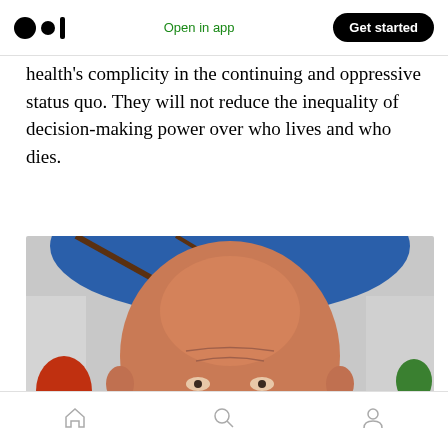Medium app header — Open in app | Get started
health's complicity in the continuing and oppressive status quo. They will not reduce the inequality of decision-making power over who lives and who dies.
[Figure (photo): Close-up photo of a bald man's head from above, with a blue umbrella visible in the background and another person with red hair partially visible to the left.]
Bottom navigation bar with home, search, and profile icons